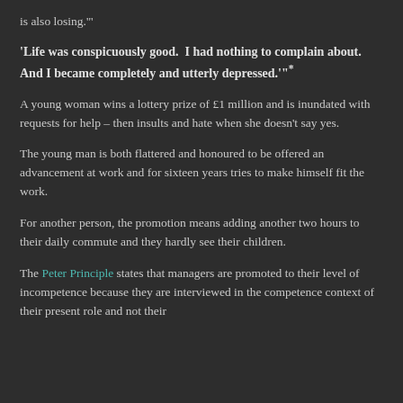is also losing.'"
'Life was conspicuously good.  I had nothing to complain about.  And I became completely and utterly depressed.'"*
A young woman wins a lottery prize of £1 million and is inundated with requests for help – then insults and hate when she doesn't say yes.
The young man is both flattered and honoured to be offered an advancement at work and for sixteen years tries to make himself fit the work.
For another person, the promotion means adding another two hours to their daily commute and they hardly see their children.
The Peter Principle states that managers are promoted to their level of incompetence because they are interviewed in the competence context of their present role and not their